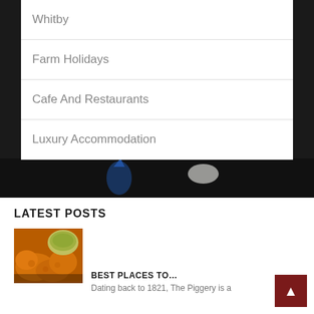Whitby
Farm Holidays
Cafe And Restaurants
Luxury Accommodation
[Figure (photo): Aerial photograph of a town with buildings and streets, dark background]
LATEST POSTS
[Figure (photo): Photo of battered fried food (fish and chips) with a dipping sauce in a bowl]
BEST PLACES TO…
Dating back to 1821, The Piggery is a